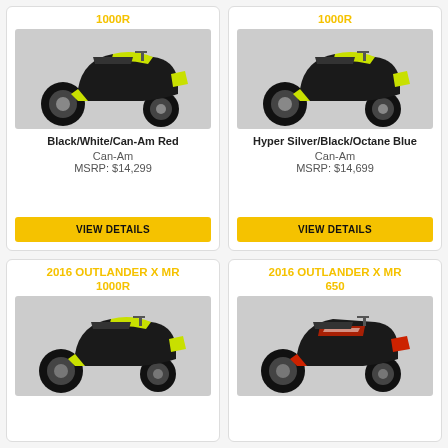1000R
[Figure (photo): Black ATV with yellow/green accents - Can-Am Outlander X MR 1000R, Black/White/Can-Am Red colorway]
Black/White/Can-Am Red
Can-Am
MSRP: $14,299
VIEW DETAILS
1000R
[Figure (photo): Black ATV with yellow/green accents - Can-Am Outlander X MR 1000R, Hyper Silver/Black/Octane Blue colorway]
Hyper Silver/Black/Octane Blue
Can-Am
MSRP: $14,699
VIEW DETAILS
2016 OUTLANDER X MR 1000R
[Figure (photo): Black ATV with yellow/green accents - 2016 Can-Am Outlander X MR 1000R]
2016 OUTLANDER X MR 650
[Figure (photo): Black ATV with red accents - 2016 Can-Am Outlander X MR 650]